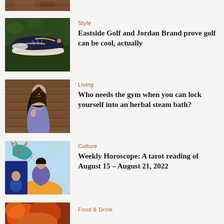[Figure (photo): Partial view of a brown/orange image at top, cropped]
[Figure (photo): Nike golf shoe (dark navy with gold accents) on green background]
Style
Eastside Golf and Jordan Brand prove golf can be cool, actually
[Figure (photo): Woman in lavender dress leaning against wooden sauna wall]
Living
Who needs the gym when you can lock yourself into an herbal steam bath?
[Figure (illustration): Colorful illustration with zodiac bull figure, woman meditating, person in purple, orange and blue shapes]
Culture
Weekly Horoscope: A tarot reading of August 15 – August 21, 2022
[Figure (photo): Partial food image, warm orange/red tones, bottom of page]
Food & Drink